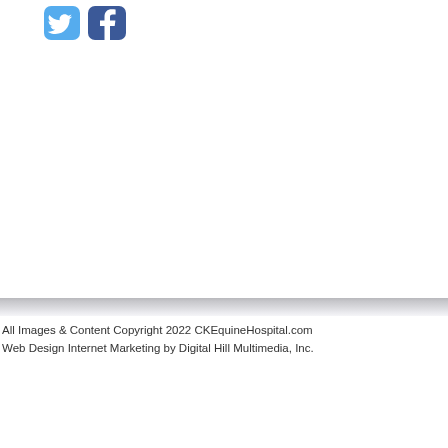[Figure (logo): Twitter and Facebook social media icon buttons in blue colors at top left]
All Images & Content Copyright 2022 CKEquineHospital.com
Web Design Internet Marketing by Digital Hill Multimedia, Inc.